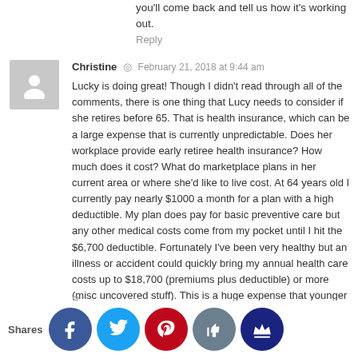you'll come back and tell us how it's working out.
Reply
Christine  ◎  February 21, 2018 at 9:44 am
Lucky is doing great! Though I didn't read through all of the comments, there is one thing that Lucy needs to consider if she retires before 65. That is health insurance, which can be a large expense that is currently unpredictable. Does her workplace provide early retiree health insurance? How much does it cost? What do marketplace plans in her current area or where she'd like to live cost. At 64 years old I currently pay nearly $1000 a month for a plan with a high deductible. My plan does pay for basic preventive care but any other medical costs come from my pocket until I hit the $6,700 deductible. Fortunately I've been very healthy but an illness or accident could quickly bring my annual health care costs up to $18,700 (premiums plus deductible) or more (misc uncovered stuff). This is a huge expense that younger people or those with employer health care often don't consider.
Reply
[Figure (infographic): Social share bar with Facebook, Twitter, Pinterest, Thumbs-up, and Crown icon buttons. Label 'Shares' on left.]